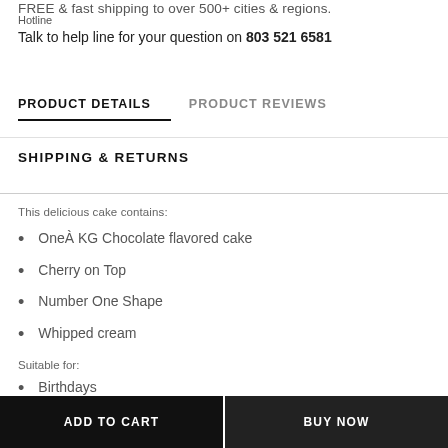FREE & fast shipping to over 500+ cities & regions.
Hotline
Talk to help line for your question on 803 521 6581
PRODUCT DETAILS
PRODUCT REVIEWS
SHIPPING & RETURNS
This delicious cake contains:
OneÀ KG Chocolate flavored cake
Cherry on Top
Number One Shape
Whipped cream
Suitable for:
Birthdays